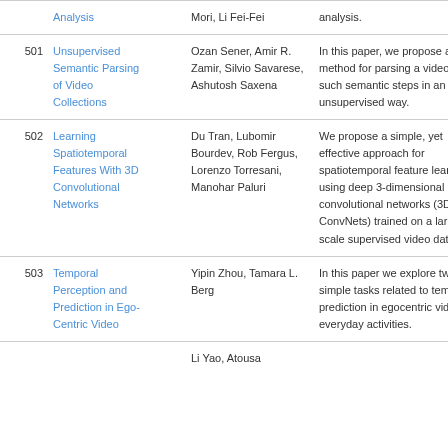| # | Title | Authors | Abstract |
| --- | --- | --- | --- |
|  | Analysis | Mori, Li Fei-Fei | analysis. |
| 501 | Unsupervised Semantic Parsing of Video Collections | Ozan Sener, Amir R. Zamir, Silvio Savarese, Ashutosh Saxena | In this paper, we propose a method for parsing a video into such semantic steps in an unsupervised way. |
| 502 | Learning Spatiotemporal Features With 3D Convolutional Networks | Du Tran, Lubomir Bourdev, Rob Fergus, Lorenzo Torresani, Manohar Paluri | We propose a simple, yet effective approach for spatiotemporal feature learning using deep 3-dimensional convolutional networks (3D ConvNets) trained on a large scale supervised video dataset. |
| 503 | Temporal Perception and Prediction in Ego-Centric Video | Yipin Zhou, Tamara L. Berg | In this paper we explore two simple tasks related to temporal prediction in egocentric videos of everyday activities. |
|  |  | Li Yao, Atousa |  |